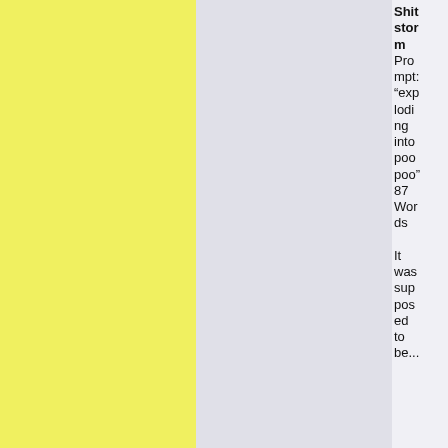hubris.height
Jan 6, 2005
[Figure (illustration): Square Soft - The Chronic Trigger logo with anime character]
Pork Pro
Shitstorm
Prompt: "exploding into poo poo"
87 Words

It was supposed to be...